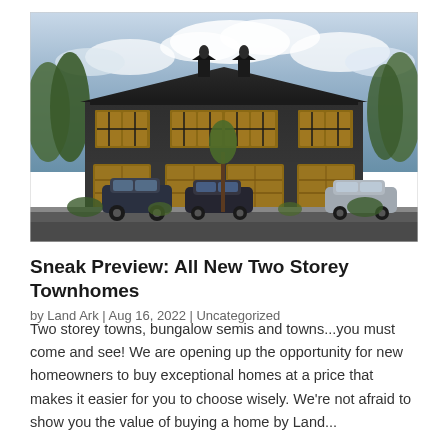[Figure (photo): Architectural rendering of a row of modern two-storey townhomes with dark board-and-batten siding, wood garage doors, and cars parked in the driveway under a dramatic cloudy sky.]
Sneak Preview: All New Two Storey Townhomes
by Land Ark | Aug 16, 2022 | Uncategorized
Two storey towns, bungalow semis and towns...you must come and see! We are opening up the opportunity for new homeowners to buy exceptional homes at a price that makes it easier for you to choose wisely. We're not afraid to show you the value of buying a home by Land...